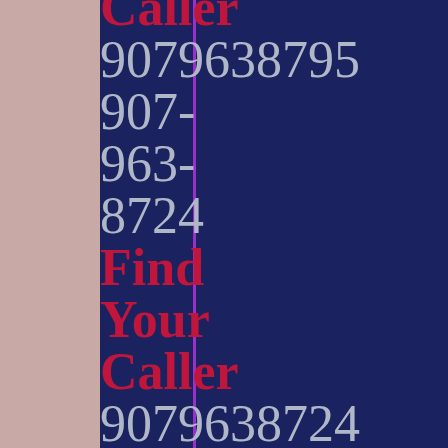Caller 9079638795 907- 963- 8724 Find Your Caller 9079638724 907- 963- 8789 Find Your Caller 9079638789 907-